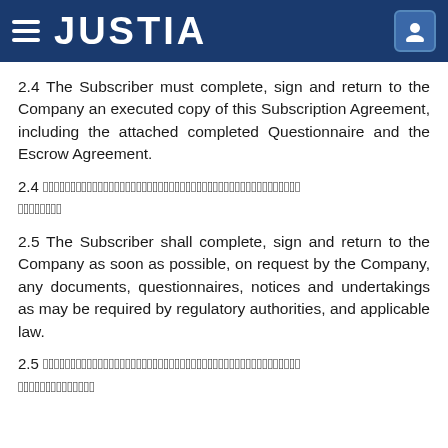JUSTIA
2.4 The Subscriber must complete, sign and return to the Company an executed copy of this Subscription Agreement, including the attached completed Questionnaire and the Escrow Agreement.
2.4 　0　0　0　0　0　0　0　0　0　0　0　0　0　0　0　0　0　0　0　0　0　0　0　0　0　0　0　0　0　0　0　0　0　0　0　0　0　0　0　0　0　0　0　0　0　0　0
2.5 The Subscriber shall complete, sign and return to the Company as soon as possible, on request by the Company, any documents, questionnaires, notices and undertakings as may be required by regulatory authorities, and applicable law.
2.5 　0　0　0　0　0　0　0　0　0　0　0　0　0　0　0　0　0　0　0　0　0　0　0　0　0　0　0　0　0　0　0　0　0　0　0　0　0　0　0